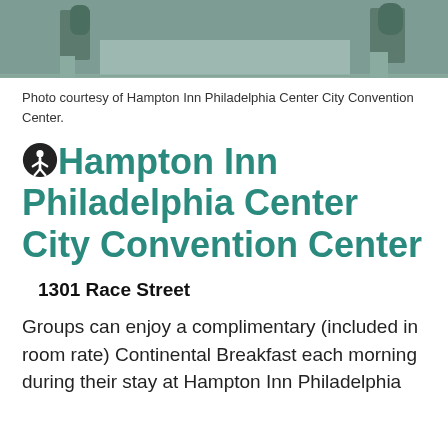[Figure (photo): Exterior photo of Hampton Inn Philadelphia Center City Convention Center, showing the building facade with trees]
Photo courtesy of Hampton Inn Philadelphia Center City Convention Center.
Hampton Inn Philadelphia Center City Convention Center
1301 Race Street
Groups can enjoy a complimentary (included in room rate) Continental Breakfast each morning during their stay at Hampton Inn Philadelphia